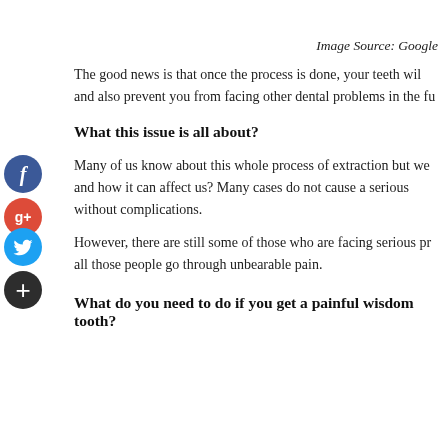Image Source: Google
The good news is that once the process is done, your teeth will and also prevent you from facing other dental problems in the fu
What this issue is all about?
Many of us know about this whole process of extraction but we and how it can affect us? Many cases do not cause a serious without complications.
However, there are still some of those who are facing serious pr all those people go through unbearable pain.
What do you need to do if you get a painful wisdom tooth?